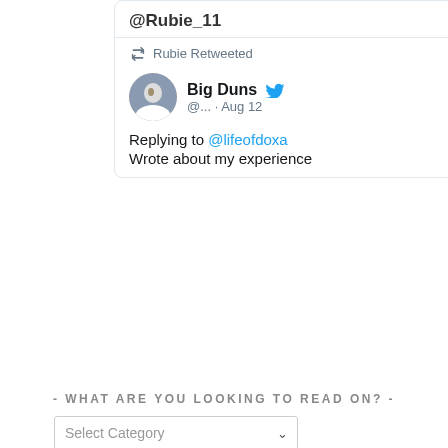[Figure (screenshot): Twitter/social media card showing '@Rubie_11' header, 'Rubie Retweeted' with retweet icon, user 'Big Duns' with profile photo and Twitter bird icon, handle '@... · Aug 12', 'Replying to @lifeofdoxa', and partial text 'Wrote about my experience']
- WHAT ARE YOU LOOKING TO READ ON? -
Select Category
- BARNABAS AWARD -
[Figure (illustration): Gold and red circular medal/badge on a black background within a gold-bordered frame]